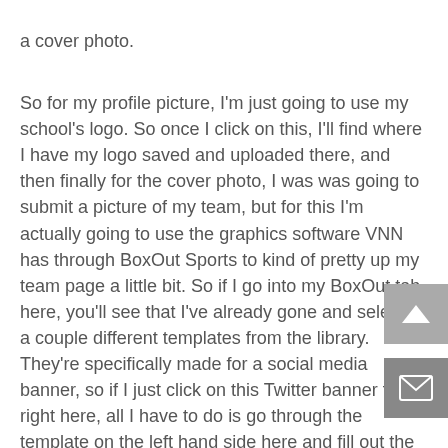a cover photo.
So for my profile picture, I'm just going to use my school's logo. So once I click on this, I'll find where I have my logo saved and uploaded there, and then finally for the cover photo, I was was going to submit a picture of my team, but for this I'm actually going to use the graphics software VNN has through BoxOut Sports to kind of pretty up my team page a little bit. So if I go into my BoxOut tab here, you'll see that I've already gone and selected a couple different templates from the library. They're specifically made for a social media banner, so if I just click on this Twitter banner team right here, all I have to do is go through the template on the left hand side here and fill out the colors and the text. So I'll go green, yellow, I'll use my team picture, let's go with our game logo again and